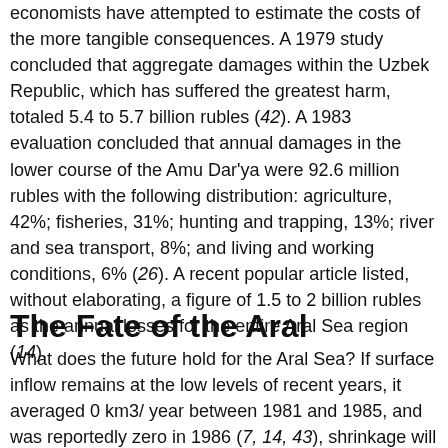economists have attempted to estimate the costs of the more tangible consequences. A 1979 study concluded that aggregate damages within the Uzbek Republic, which has suffered the greatest harm, totaled 5.4 to 5.7 billion rubles (42). A 1983 evaluation concluded that annual damages in the lower course of the Amu Dar'ya were 92.6 million rubles with the following distribution: agriculture, 42%; fisheries, 31%; hunting and trapping, 13%; river and sea transport, 8%; and living and working conditions, 6% (26). A recent popular article listed, without elaborating, a figure of 1.5 to 2 billion rubles as the annual losses for the entire Aral Sea region (14).
The Fate of the Aral
What does the future hold for the Aral Sea? If surface inflow remains at the low levels of recent years, it averaged 0 km3/ year between 1981 and 1985, and was reportedly zero in 1986 (7, 14, 43), shrinkage will continue into the next